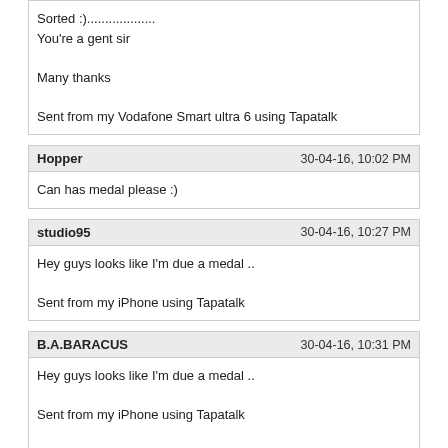Sorted :)...................
You're a gent sir

Many thanks

Sent from my Vodafone Smart ultra 6 using Tapatalk
Hopper | 30-04-16, 10:02 PM
Can has medal please :)
studio95 | 30-04-16, 10:27 PM
Hey guys looks like I'm due a medal ..

Sent from my iPhone using Tapatalk
B.A.BARACUS | 30-04-16, 10:31 PM
Hey guys looks like I'm due a medal ..

Sent from my iPhone using Tapatalk

Sorted m8 :)
studio95 | 30-04-16, 10:32 PM
Thank you kind sir... I'll have one just for you..

Sent from my iPhone using Tapatalk